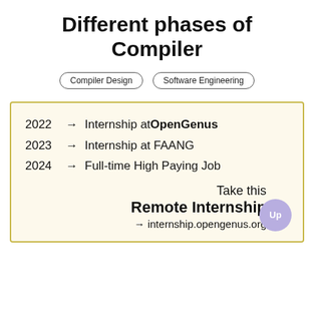Different phases of Compiler
Compiler Design  Software Engineering
[Figure (infographic): Promotional box with years 2022→Internship at OpenGenus, 2023→Internship at FAANG, 2024→Full-time High Paying Job, and call-to-action: Take this Remote Internship → internship.opengenus.org]